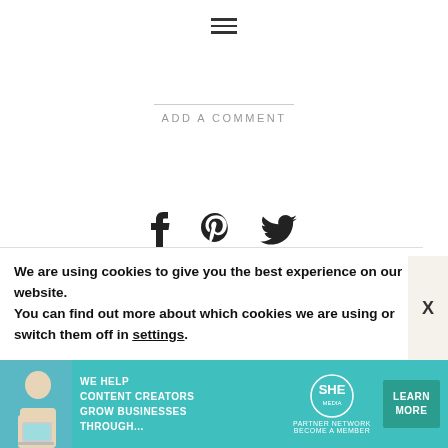≡
ADD A COMMENT
[Figure (infographic): Social media share icons: Facebook (f), Pinterest (p), Twitter (bird)]
JEANS AND A TEACUP NEWSLETTER!
Jeans and a Teacup
We are using cookies to give you the best experience on our website.
You can find out more about which cookies we are using or switch them off in settings.
[Figure (infographic): SHE Media Partner Network advertisement banner: We help content creators grow businesses through... with Learn More button]